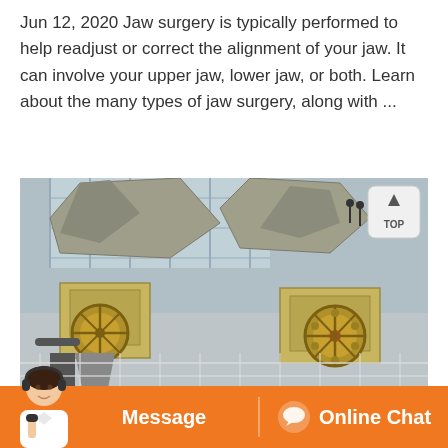Jun 12, 2020 Jaw surgery is typically performed to help readjust or correct the alignment of your jaw. It can involve your upper jaw, lower jaw, or both. Learn about the many types of jaw surgery, along with ...
[Figure (photo): Industrial jaw crushers / heavy mining machinery with large flywheels and stone blocks in an outdoor industrial setting]